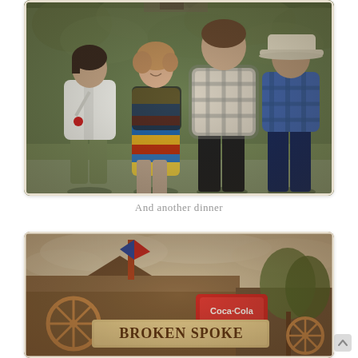[Figure (photo): Four people standing in front of a green hedge. From left: a woman in white jacket and green pants, a woman in colorful dress, a tall young man in plaid shirt, and an older man in blue plaid shirt and cowboy hat.]
And another dinner
[Figure (photo): Exterior shot of the Broken Spoke venue sign with a Coca-Cola logo, wagon wheel decorations, and trees in the background under a cloudy sky. Sepia/vintage toned photo.]